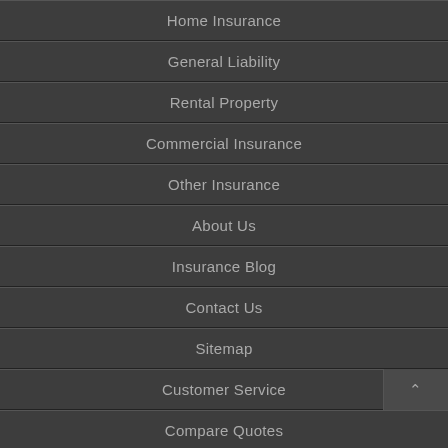Home Insurance
General Liability
Rental Property
Commercial Insurance
Other Insurance
About Us
Insurance Blog
Contact Us
Sitemap
Customer Service
Compare Quotes